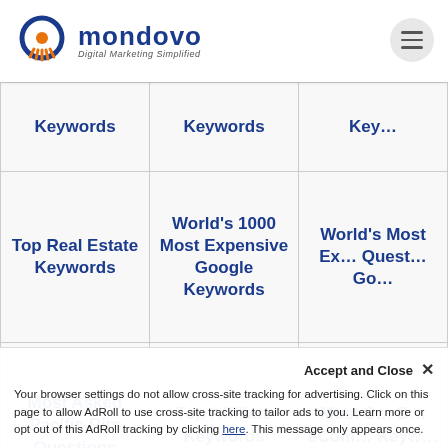[Figure (logo): Mondovo logo with circular icon and text 'mondovo Digital Marketing Simplified']
| Col1 | Col2 | Col3 |
| --- | --- | --- |
| Keywords | Keywords | Key... |
| Top Real Estate Keywords | World's 1000 Most Expensive Google Keywords | World's Most Ex... Quest... Go... |
| Most Asked Pacific Rim Questions | Top Affiliate Keywords | Most S... B... eCom... Keyw... |
Accept and Close ×
Your browser settings do not allow cross-site tracking for advertising. Click on this page to allow AdRoll to use cross-site tracking to tailor ads to you. Learn more or opt out of this AdRoll tracking by clicking here. This message only appears once.